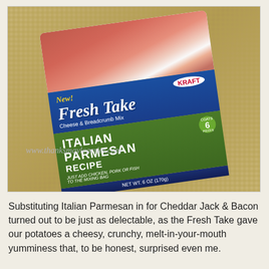[Figure (photo): Photo of a Kraft Fresh Take Cheese & Breadcrumb Mix package, Italian Parmesan Recipe flavor (6 oz), placed on a woven mat/surface. The package shows the blue Kraft logo, 'New!' label, 'Fresh Take' branding in script, green band with 'ITALIAN PARMESAN RECIPE' text, and a watermark URL www.thanksmaylcarrier.com.]
Substituting Italian Parmesan in for Cheddar Jack & Bacon turned out to be just as delectable, as the Fresh Take gave our potatoes a cheesy, crunchy, melt-in-your-mouth yumminess that, to be honest, surprised even me.